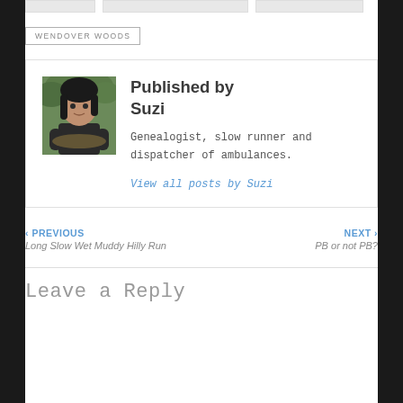[Figure (other): Three small stub image thumbnails in a row at the top of the page]
WENDOVER WOODS
[Figure (photo): Author avatar photo of Suzi, a woman with dark hair outdoors near greenery]
Published by Suzi
Genealogist, slow runner and dispatcher of ambulances.
View all posts by Suzi
‹ PREVIOUS
Long Slow Wet Muddy Hilly Run
NEXT ›
PB or not PB?
Leave a Reply